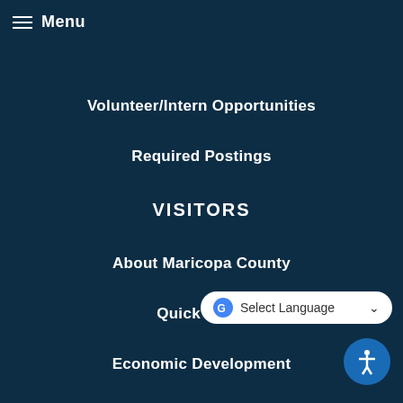Menu
Volunteer/Intern Opportunities
Required Postings
VISITORS
About Maricopa County
Quick Facts
Economic Development
Working for Us
Newsroom